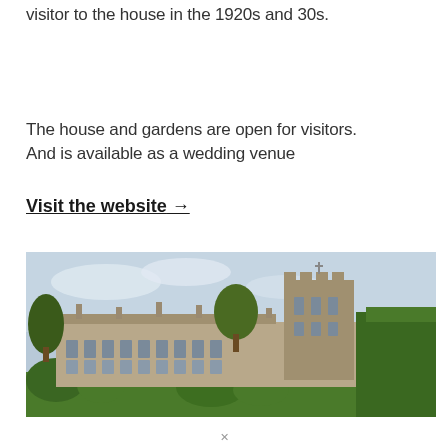visitor to the house in the 1920s and 30s.
The house and gardens are open for visitors. And is available as a wedding venue
Visit the website →
[Figure (photo): Exterior photograph of a large English country house or manor, with stone architecture, towers, chimneys, and shaped topiary hedges in the foreground, against a cloudy blue sky.]